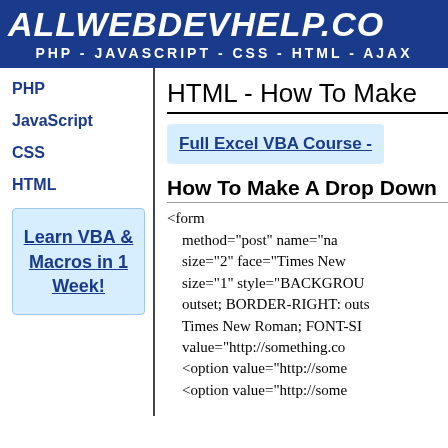AllWebDevHelp.com - PHP - JAVASCRIPT - CSS - HTML - AJAX
PHP
JavaScript
CSS
HTML
[Figure (other): Advertisement box: Learn VBA & Macros in 1 Week!]
HTML - How To Make
[Figure (other): Advertisement box: Full Excel VBA Course -]
How To Make A Drop Down
<form
    method="post" name="na
    size="2" face="Times New
    size="1" style="BACKGROU
    outset; BORDER-RIGHT: outs
    Times New Roman; FONT-SI
    value="http://something.co
    <option value="http://some
    <option value="http://some